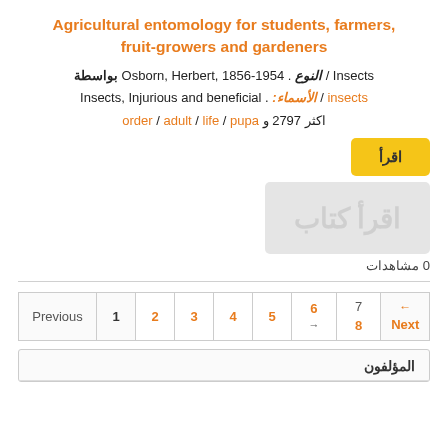Agricultural entomology for students, farmers, fruit-growers and gardeners
Insects / النوع . Osborn, Herbert, 1856-1954 بواسطة insects / الأسماء: . Insects, Injurious and beneficial pupa / life / adult / order و 2797 اكثر
[Figure (other): Read button (اقرأ) in yellow/gold color]
[Figure (other): Thumbnail image placeholder with gray background and Arabic watermark text]
0 مشاهدات
| Previous | 1 | 2 | 3 | 4 | 5 | 6
→ | 7
8 | ←
Next |
| --- | --- | --- | --- | --- | --- | --- | --- | --- |
المؤلفون